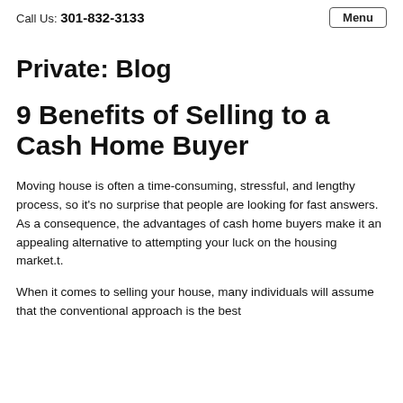Call Us: 301-832-3133  Menu
Private: Blog
9 Benefits of Selling to a Cash Home Buyer
Moving house is often a time-consuming, stressful, and lengthy process, so it’s no surprise that people are looking for fast answers. As a consequence, the advantages of cash home buyers make it an appealing alternative to attempting your luck on the housing market.t.
When it comes to selling your house, many individuals will assume that the conventional approach is the best